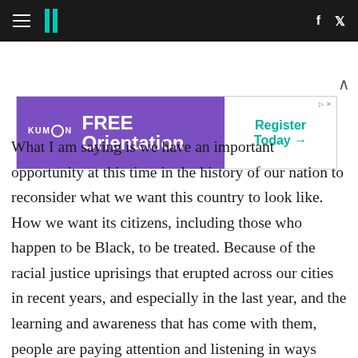HuffPost navigation bar with hamburger menu, logo, Facebook and Twitter icons
[Figure (screenshot): Kumon advertisement banner: purple section with KUMON logo and FREE Orientation text, white section with Register Today arrow button]
What I am saying is we have an important opportunity at this time in the history of our nation to reconsider what we want this country to look like. How we want its citizens, including those who happen to be Black, to be treated. Because of the racial justice uprisings that erupted across our cities in recent years, and especially in the last year, and the learning and awareness that has come with them, people are paying attention and listening in ways they haven't — maybe ever before.